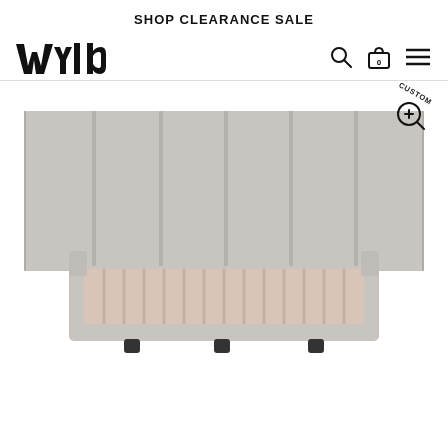SHOP CLEARANCE SALE
[Figure (logo): WYLD brand logo in black stylized text]
[Figure (screenshot): Navigation icons: search, bag with 0, hamburger menu]
[Figure (photo): Upholstered bed frame with wide paneled headboard in light grey fabric, front view on white background, with CUSTOM zoom badge in upper right corner]